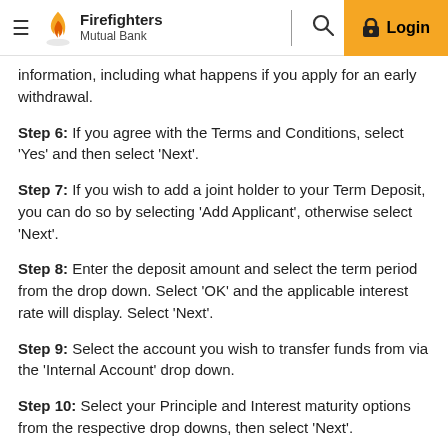Firefighters Mutual Bank
information, including what happens if you apply for an early withdrawal.
Step 6: If you agree with the Terms and Conditions, select 'Yes' and then select 'Next'.
Step 7: If you wish to add a joint holder to your Term Deposit, you can do so by selecting 'Add Applicant', otherwise select 'Next'.
Step 8: Enter the deposit amount and select the term period from the drop down. Select 'OK' and the applicable interest rate will display. Select 'Next'.
Step 9: Select the account you wish to transfer funds from via the 'Internal Account' drop down.
Step 10: Select your Principle and Interest maturity options from the respective drop downs, then select 'Next'.
Step 11: Review the information entered under the Account